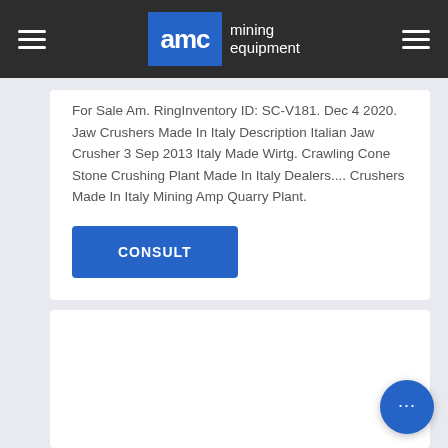AMC mining equipment
For Sale Am. RingInventory ID: SC-V181. Dec 4 2020. Jaw Crushers Made In Italy Description Italian Jaw Crusher 3 Sep 2013 Italy Made Wirtg. Crawling Cone Stone Crushing Plant Made In Italy Dealers.... Crushers Made In Italy Mining Amp Quarry Plant.
CONSULT
[Figure (other): White card placeholder area]